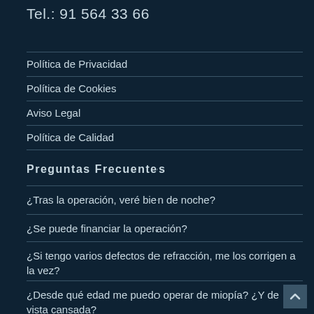Tel.: 91 564 33 66
Política de Privacidad
Política de Cookies
Aviso Legal
Política de Calidad
Preguntas Frecuentes
¿Tras la operación, veré bien de noche?
¿Se puede financiar la operación?
¿Si tengo varios defectos de refracción, me los corrigen a la vez?
¿Desde qué edad me puedo operar de miopía? ¿Y de vista cansada?